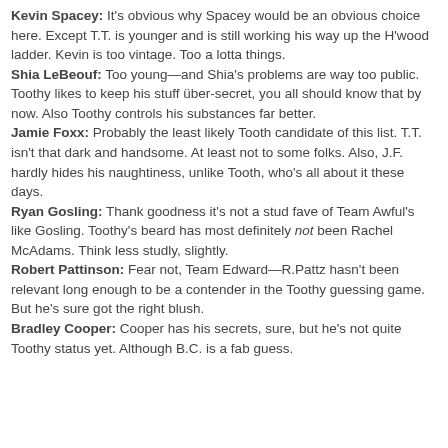Kevin Spacey: It's obvious why Spacey would be an obvious choice here. Except T.T. is younger and is still working his way up the H'wood ladder. Kevin is too vintage. Too a lotta things.
Shia LeBeouf: Too young—and Shia's problems are way too public. Toothy likes to keep his stuff über-secret, you all should know that by now. Also Toothy controls his substances far better.
Jamie Foxx: Probably the least likely Tooth candidate of this list. T.T. isn't that dark and handsome. At least not to some folks. Also, J.F. hardly hides his naughtiness, unlike Tooth, who's all about it these days.
Ryan Gosling: Thank goodness it's not a stud fave of Team Awful's like Gosling. Toothy's beard has most definitely not been Rachel McAdams. Think less studly, slightly.
Robert Pattinson: Fear not, Team Edward—R.Pattz hasn't been relevant long enough to be a contender in the Toothy guessing game. But he's sure got the right blush.
Bradley Cooper: Cooper has his secrets, sure, but he's not quite Toothy status yet. Although B.C. is a fab guess.